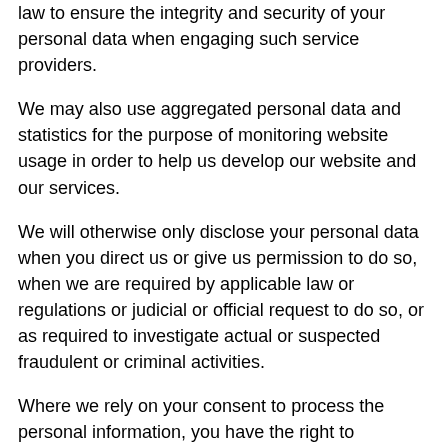law to ensure the integrity and security of your personal data when engaging such service providers.
We may also use aggregated personal data and statistics for the purpose of monitoring website usage in order to help us develop our website and our services.
We will otherwise only disclose your personal data when you direct us or give us permission to do so, when we are required by applicable law or regulations or judicial or official request to do so, or as required to investigate actual or suspected fraudulent or criminal activities.
Where we rely on your consent to process the personal information, you have the right to withdraw or decline your consent at any time. Please note that this does not affect the lawfulness of the processing based on consent before its withdrawal.
If we ask you to provide personal information to comply with a legal requirement or to perform a contract with you, we will make this clear at the relevant time and advise you whether the provision of your personal information is mandatory or not